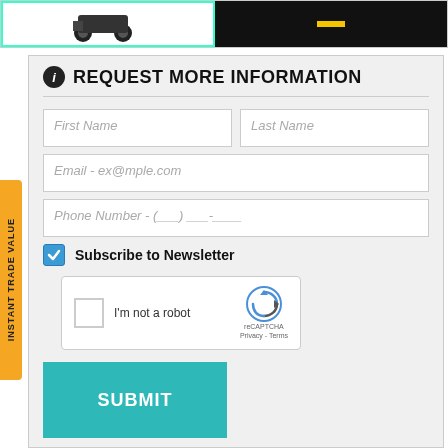[Figure (screenshot): Top image strip with two images: left has teal border showing product (ATV/vehicle), right is dark/black image with yellow bar]
REQUEST MORE INFORMATION
First Name
Last Name
Email - ex@mple.com
Phone Number - (___) ___-____
Subscribe to Newsletter
[Figure (screenshot): reCAPTCHA widget with checkbox, I'm not a robot text, and Google reCAPTCHA logo]
SUBMIT
By pressing SUBMIT, you agree that DX1, LLC and Robs Fun Center may call/text you at the number provided, for either informational or marketing purposes, using